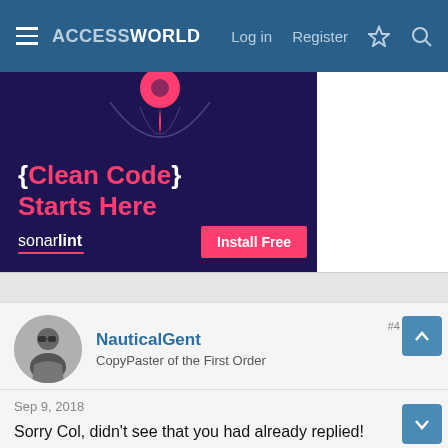ACCESSWORLD — Log in  Register
[Figure (screenshot): SonarLint advertisement banner: dark purple background with red pin icon at top, large text '{Clean Code} Starts Here' in red/white, sonarlint logo bottom-left, 'Install Free' red button bottom-right]
NauticalGent
CopyPaster of the First Order
Sep 9, 2018
Sorry Col, didn't see that you had already replied!